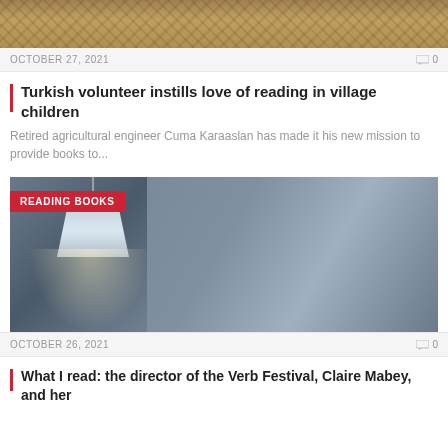[Figure (photo): Top landscape/terrain photo, partially visible, showing rocky or earthy ground texture]
OCTOBER 27, 2021
0
Turkish volunteer instills love of reading in village children
Retired agricultural engineer Cuma Karaaslan has made it his new mission to provide books to...
[Figure (photo): Photo of a smiling young woman with glasses and long reddish-brown hair, wearing a blue sweater, seated in a dim room with a lamp visible on the left. A red badge in the top-left reads READING BOOKS.]
OCTOBER 26, 2021
0
What I read: the director of the Verb Festival, Claire Mabey, and her